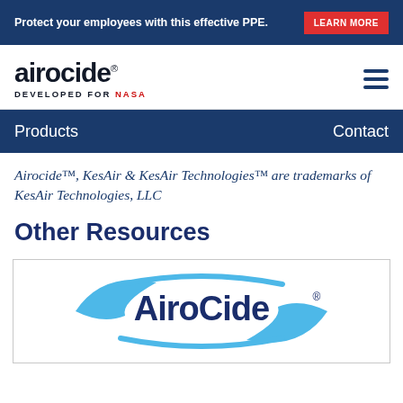Protect your employees with this effective PPE. LEARN MORE
[Figure (logo): Airocide logo with text 'DEVELOPED FOR NASA' below]
Products   Contact
Airocide™, KesAir & KesAir Technologies™ are trademarks of KesAir Technologies, LLC
Other Resources
[Figure (logo): AiroCide brand logo with blue swoosh oval and bold navy text 'AiroCide' with registered trademark symbol]